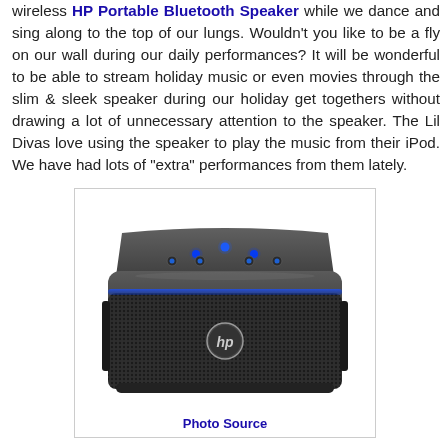wireless HP Portable Bluetooth Speaker while we dance and sing along to the top of our lungs. Wouldn't you like to be a fly on our wall during our daily performances? It will be wonderful to be able to stream holiday music or even movies through the slim & sleek speaker during our holiday get togethers without drawing a lot of unnecessary attention to the speaker. The Lil Divas love using the speaker to play the music from their iPod. We have had lots of "extra" performances from them lately.
[Figure (photo): HP Portable Bluetooth Speaker – a dark gray rectangular Bluetooth speaker with blue LED indicator lights on top and an HP logo on the front grille.]
Photo Source